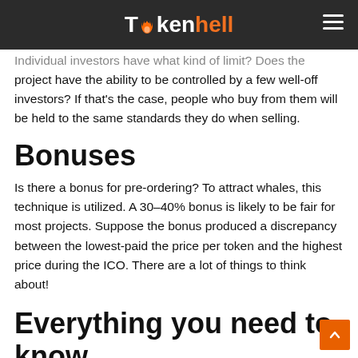Tokenhell
Individual investors have what kind of limit? Does the project have the ability to be controlled by a few well-off investors? If that's the case, people who buy from them will be held to the same standards they do when selling.
Bonuses
Is there a bonus for pre-ordering? To attract whales, this technique is utilized. A 30–40% bonus is likely to be fair for most projects. Suppose the bonus produced a discrepancy between the lowest-paid the price per token and the highest price during the ICO. There are a lot of things to think about!
Everything you need to know